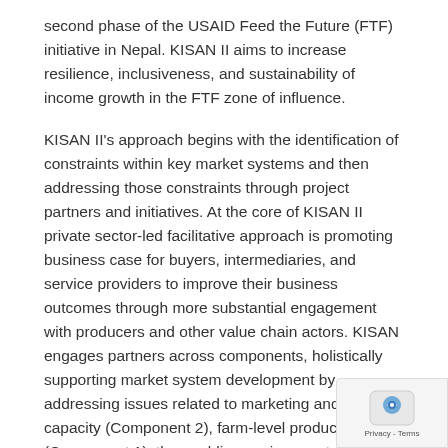second phase of the USAID Feed the Future (FTF) initiative in Nepal. KISAN II aims to increase resilience, inclusiveness, and sustainability of income growth in the FTF zone of influence.
KISAN II's approach begins with the identification of constraints within key market systems and then addressing those constraints through project partners and initiatives. At the core of KISAN II private sector-led facilitative approach is promoting business case for buyers, intermediaries, and service providers to improve their business outcomes through more substantial engagement with producers and other value chain actors. KISAN engages partners across components, holistically supporting market system development by addressing issues related to marketing and business capacity (Component 2), farm-level productivity (Component 1), the enabling environment (Component